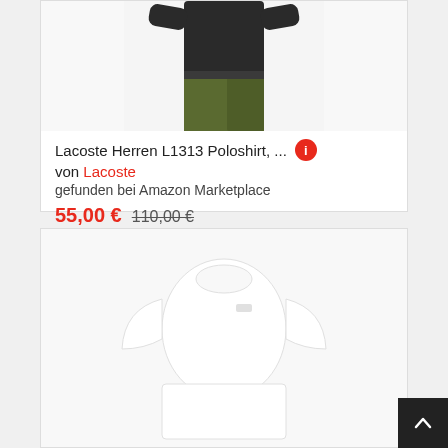[Figure (photo): Man wearing dark long-sleeve shirt and olive/khaki trousers, cropped at torso and legs]
Lacoste Herren L1313 Poloshirt, ...
von Lacoste
gefunden bei Amazon Marketplace
55,00 €  110,00 €
Versandkosten: 0,00 €
[Figure (photo): Woman wearing white crew-neck three-quarter sleeve Lacoste t-shirt, cropped below waist]